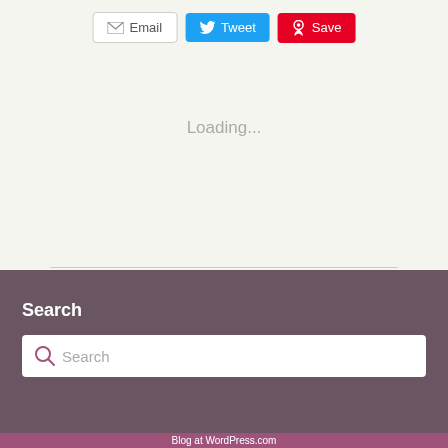[Figure (screenshot): Social share buttons: Email, Tweet, Save]
Loading...
Search
Search (search box placeholder)
Blog at WordPress.com